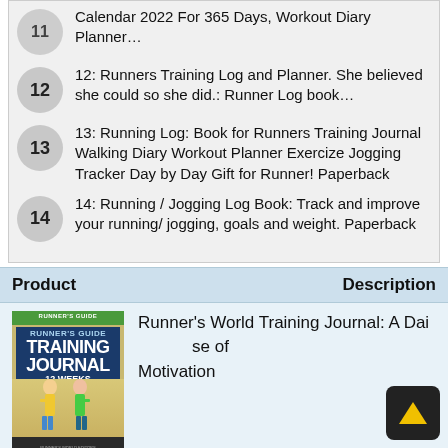Calendar 2022 For 365 Days, Workout Diary Planner…
12: Runners Training Log and Planner. She believed she could so she did.: Runner Log book…
13: Running Log: Book for Runners Training Journal Walking Diary Workout Planner Exercize Jogging Tracker Day by Day Gift for Runner! Paperback
14: Running / Jogging Log Book: Track and improve your running/ jogging, goals and weight. Paperback
| Product | Description |
| --- | --- |
| [Runner's World Training Journal book cover image] | Runner's World Training Journal: A Daily Dose of Motivation |